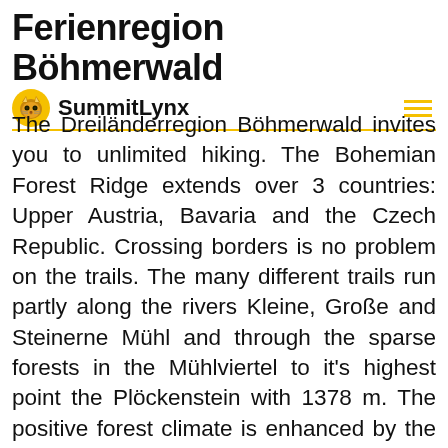Ferienregion Böhmerwald
SummitLynx
The Dreiländerregion Böhmerwald invites you to unlimited hiking. The Bohemian Forest Ridge extends over 3 countries: Upper Austria, Bavaria and the Czech Republic. Crossing borders is no problem on the trails. The many different trails run partly along the rivers Kleine, Große and Steinerne Mühl and through the sparse forests in the Mühlviertel to it's highest point the Plöckenstein with 1378 m. The positive forest climate is enhanced by the radiation of the granite and gives the hikers new strength for their life. Over 20 of the strongest power stations are connected with the path of deceleration - Böhmerwaldrundweg. Hospitality is very